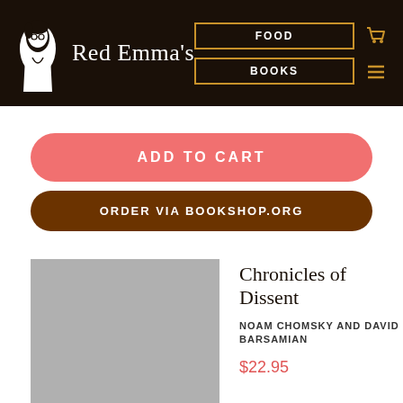Red Emma's — FOOD | BOOKS navigation header
ADD TO CART
ORDER VIA BOOKSHOP.ORG
Chronicles of Dissent
NOAM CHOMSKY AND DAVID BARSAMIAN
$22.95